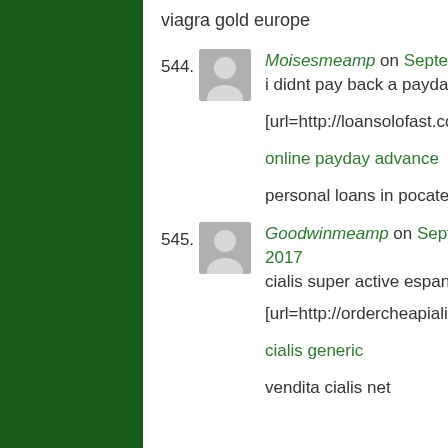viagra gold europe
544. Moisesmeamp on September 6, 2017
i didnt pay back a payday loan
[url=http://loansolofast.com/]payday loan cash loan[/url]
online payday advance
personal loans in pocatello idaho
545. Goodwinmeamp on September 6, 2017
cialis super active espana
[url=http://ordercheapialisgs.com/]buy cialis[/url]
cialis generic
vendita cialis net